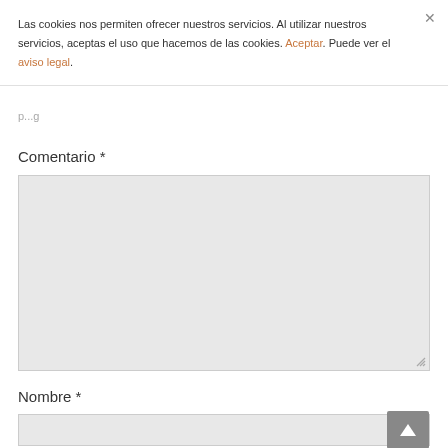Las cookies nos permiten ofrecer nuestros servicios. Al utilizar nuestros servicios, aceptas el uso que hacemos de las cookies. Aceptar. Puede ver el aviso legal.
Comentario *
[Figure (screenshot): Large textarea input field with light gray background for comment entry, with a resize handle at the bottom right corner]
Nombre *
[Figure (screenshot): Single-line text input field with light gray background for name entry, with a back-to-top arrow button overlaid at right]